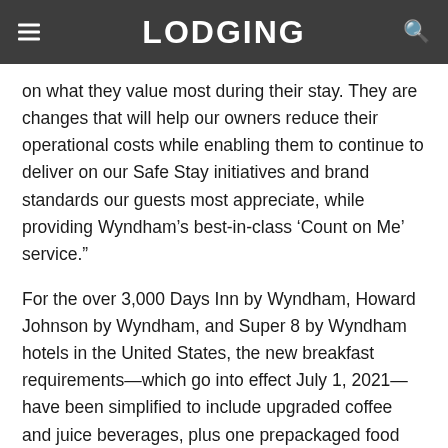LODGING
on what they value most during their stay. They are changes that will help our owners reduce their operational costs while enabling them to continue to deliver on our Safe Stay initiatives and brand standards our guests most appreciate, while providing Wyndham’s best-in-class ‘Count on Me’ service.”
For the over 3,000 Days Inn by Wyndham, Howard Johnson by Wyndham, and Super 8 by Wyndham hotels in the United States, the new breakfast requirements—which go into effect July 1, 2021—have been simplified to include upgraded coffee and juice beverages, plus one prepackaged food item such as a granola bar or breakfast pastry. Travelodge by Wyndham will continue offering 24-hour beverage service.